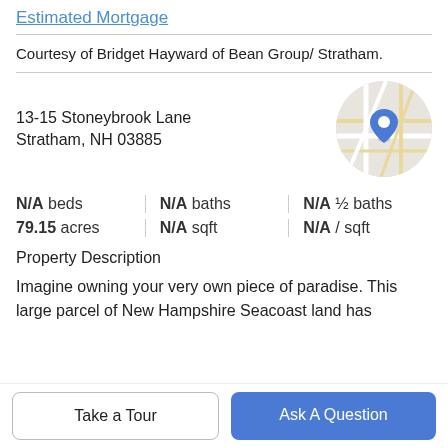Estimated Mortgage
Courtesy of Bridget Hayward of Bean Group/ Stratham.
13-15 Stoneybrook Lane
Stratham, NH 03885
[Figure (map): Circular map thumbnail showing street map with a blue location pin marker]
N/A beds | N/A baths | N/A ½ baths
79.15 acres | N/A sqft | N/A / sqft
Property Description
Imagine owning your very own piece of paradise. This large parcel of New Hampshire Seacoast land has
Take a Tour
Ask A Question